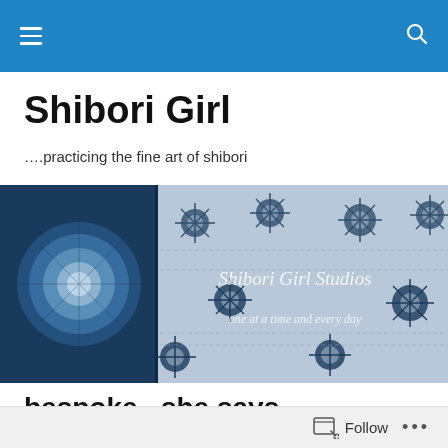Navigation bar with hamburger menu and search icon
Shibori Girl
….practicing the fine art of shibori
[Figure (photo): Banner image showing shibori fabric art — left half shows a dark blue circular shibori pattern (itajime or ne-maki), right half shows a lighter shibori cloth with snowflake/star patterns and text reading 'Shibori Girl Studios — one at a time and every day']
bespoke...she says
My online friend Scott– artist, map maker, beader and
Follow •••